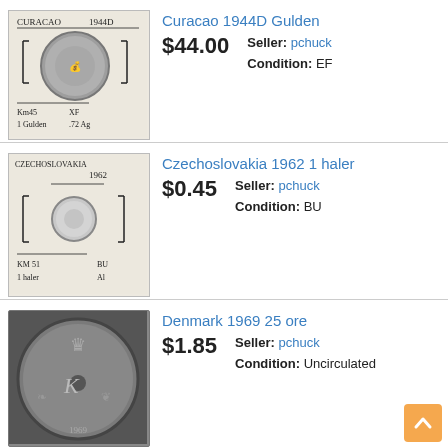[Figure (photo): Coin card for Curacao 1944D Gulden with handwritten label]
Curacao 1944D Gulden
$44.00  Seller: pchuck  Condition: EF
[Figure (photo): Coin card for Czechoslovakia 1962 1 haler with handwritten label]
Czechoslovakia 1962 1 haler
$0.45  Seller: pchuck  Condition: BU
[Figure (photo): Coin photo for Denmark 1969 25 ore]
Denmark 1969 25 ore
$1.85  Seller: pchuck  Condition: Uncirculated